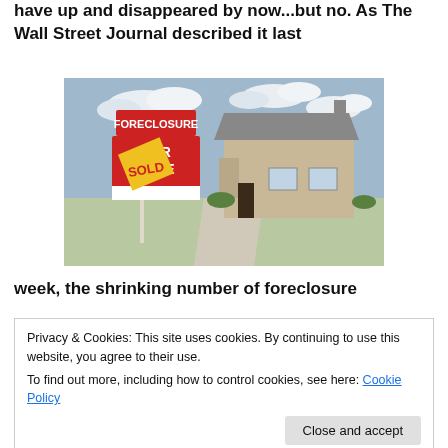have up and disappeared by now...but no. As The Wall Street Journal described it last
[Figure (photo): A real estate sign showing FORECLOSURE on top and FOR SALE with a SOLD sticker, in front of a large brick house with a long driveway, cloudy sky background.]
week, the shrinking number of foreclosure
Privacy & Cookies: This site uses cookies. By continuing to use this website, you agree to their use.
To find out more, including how to control cookies, see here: Cookie Policy
Close and accept
...